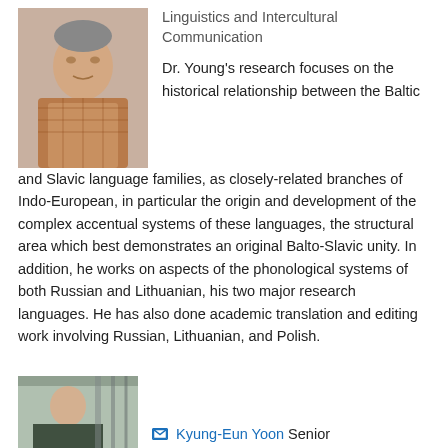[Figure (photo): Headshot photo of a man wearing a plaid shirt]
Linguistics and Intercultural Communication
Dr. Young's research focuses on the historical relationship between the Baltic and Slavic language families, as closely-related branches of Indo-European, in particular the origin and development of the complex accentual systems of these languages, the structural area which best demonstrates an original Balto-Slavic unity. In addition, he works on aspects of the phonological systems of both Russian and Lithuanian, his two major research languages. He has also done academic translation and editing work involving Russian, Lithuanian, and Polish.
[Figure (photo): Partial photo of Kyung-Eun Yoon at bottom of page]
Kyung-Eun Yoon  Senior